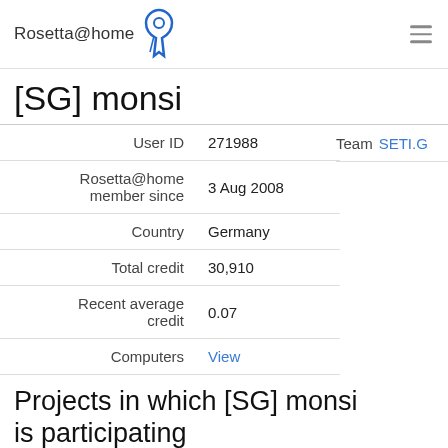Rosetta@home
[SG] monsi
|  |  |
| --- | --- |
| User ID | 271988 |
| Rosetta@home member since | 3 Aug 2008 |
| Country | Germany |
| Total credit | 30,910 |
| Recent average credit | 0.07 |
| Computers | View |
Team  SETI.G
Projects in which [SG] monsi is participating
| Project
Click for user page | Total credit | Average credit | Since |
| --- | --- | --- | --- |